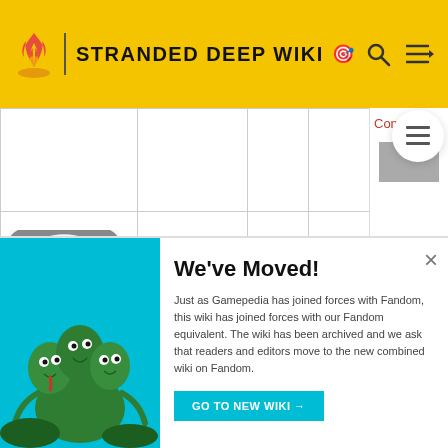STRANDED DEEP WIKI
| Image | Name | Type | Material | Links |
| --- | --- | --- | --- | --- |
| [image] |  |  |  | Conta... |
| [corrugated arch image] | Corrugated Arch | Arch | Brick | Corru... Ar... |
| [corrugated door image] | Corrugated Door | Door | Brick | Corru... |
We've Moved! Just as Gamepedia has joined forces with Fandom, this wiki has joined forces with our Fandom equivalent. The wiki has been archived and we ask that readers and editors move to the new combined wiki on Fandom.
GO TO NEW WIKI →